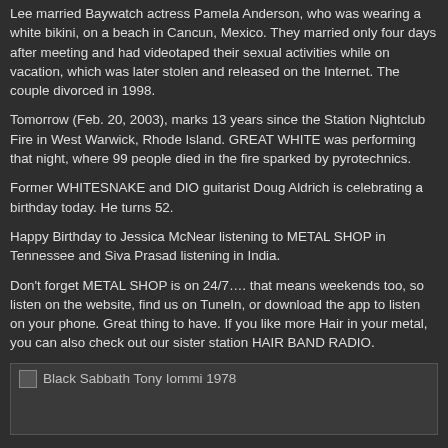Lee married Baywatch actress Pamela Anderson, who was wearing a white bikini, on a beach in Cancun, Mexico. They married only four days after meeting and had videotaped their sexual activities while on vacation, which was later stolen and released on the Internet. The couple divorced in 1998.
Tomorrow (Feb. 20, 2003), marks 13 years since the Station Nightclub Fire in West Warwick, Rhode Island. GREAT WHITE was performing that night, where 99 people died in the fire sparked by pyrotechnics.
Former WHITESNAKE and DIO guitarist Doug Aldrich is celebrating a birthday today. He turns 52.
Happy Birthday to Jessica McNear listening to METAL SHOP in Tennessee and Siva Prasad listening in India.
Don't forget METAL SHOP is on 24/7…. that means weekends too, so listen on the website, find us on TuneIn, or download the app to listen on your phone. Great thing to have. If you like more Hair in your metal, you can also check out our sister station HAIR BAND RADIO.
[Figure (photo): Black Sabbath Tony Iommi 1978 - broken image placeholder]